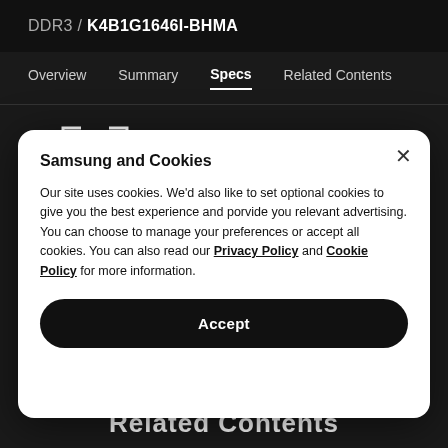DDR3 / K4B1G1646I-BHMA
Overview  Summary  Specs  Related Contents
[Figure (illustration): Scan/viewfinder icon made of corner brackets and inner square outline, white on dark background]
Samsung and Cookies
Our site uses cookies. We'd also like to set optional cookies to give you the best experience and porvide you relevant advertising. You can choose to manage your preferences or accept all cookies. You can also read our Privacy Policy and Cookie Policy for more information.
Accept
Related Contents